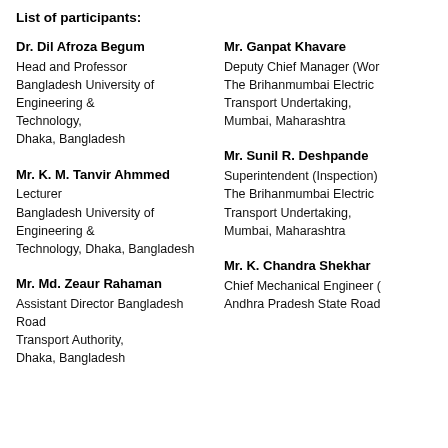List of participants:
Dr. Dil Afroza Begum
Head and Professor
Bangladesh University of Engineering & Technology,
Dhaka, Bangladesh
Mr. Ganpat Khavare
Deputy Chief Manager (Wor
The Brihanmumbai Electric
Transport Undertaking,
Mumbai, Maharashtra
Mr. K. M. Tanvir Ahmmed
Lecturer
Bangladesh University of Engineering & Technology, Dhaka, Bangladesh
Mr. Sunil R. Deshpande
Superintendent (Inspection)
The Brihanmumbai Electric
Transport Undertaking,
Mumbai, Maharashtra
Mr. Md. Zeaur Rahaman
Assistant Director Bangladesh Road Transport Authority,
Dhaka, Bangladesh
Mr. K. Chandra Shekhar
Chief Mechanical Engineer (
Andhra Pradesh State Road